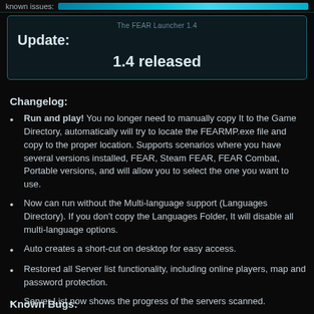Known Issues:
The FEAR Launcher 1.4
Update:
1.4 released
Changelog:
Run and play! You no longer need to manually copy It to the Game Directory, automatically will try to locate the FEARMP.exe file and copy to the proper location. Supports scenarios where you have several versions installed, FEAR, Steam FEAR, FEAR Combat, Portable versions, and will allow you to select the one you want to use.
Now can run without the Multi-language support (Languages Directory). If you don't copy the Languages Folder, It will disable all multi-language options.
Auto creates a short-cut on desktop for easy access.
Restored all Server list functionality, including online players, map and password protection.
Server List now shows the progress of the servers scanned.
Fixed Incompatibility with the upcoming FEAR Update.
Known Bugs: